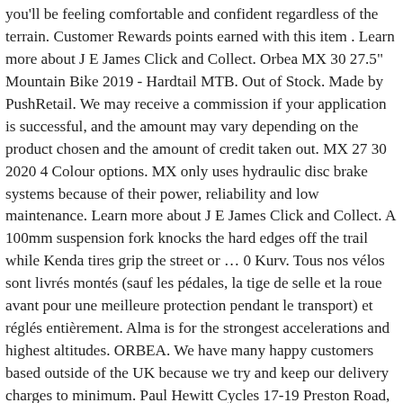you'll be feeling comfortable and confident regardless of the terrain. Customer Rewards points earned with this item . Learn more about J E James Click and Collect. Orbea MX 30 27.5" Mountain Bike 2019 - Hardtail MTB. Out of Stock. Made by PushRetail. We may receive a commission if your application is successful, and the amount may vary depending on the product chosen and the amount of credit taken out. MX 27 30 2020 4 Colour options. MX only uses hydraulic disc brake systems because of their power, reliability and low maintenance. Learn more about J E James Click and Collect. A 100mm suspension fork knocks the hard edges off the trail while Kenda tires grip the street or … 0 Kurv. Tous nos vélos sont livrés montés (sauf les pédales, la tige de selle et la roue avant pour une meilleure protection pendant le transport) et réglés entièrement. Alma is for the strongest accelerations and highest altitudes. ORBEA. We have many happy customers based outside of the UK because we try and keep our delivery charges to minimum. Paul Hewitt Cycles 17-19 Preston Road, Leyland, Lancashire, PR25 4NT Opening Times 9.30am - 6.00pm Monday - Saturday J E James Cycles Click and Collect feature is a great way of securing your product before coming